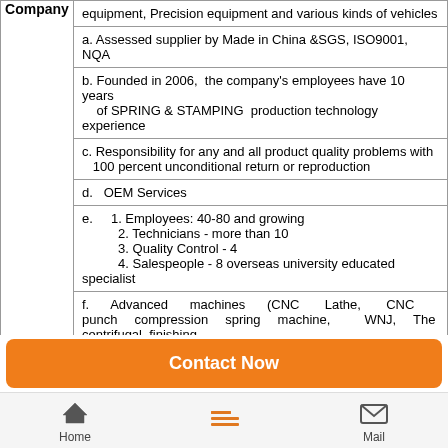|  | equipment, Precision equipment and various kinds of vehicles |
| Company | a. Assessed supplier by Made in China &SGS, ISO9001, NQA |
|  | b. Founded in 2006,  the company's employees have 10 years of SPRING & STAMPING  production technology experience |
|  | c. Responsibility for any and all product quality problems with 100 percent unconditional return or reproduction |
|  | d.   OEM Services |
|  | e.    1. Employees: 40-80 and growing
           2. Technicians - more than 10
           3. Quality Control - 4
           4. Salespeople - 8 overseas university educated specialist |
|  | f.      Advanced machines (CNC Lathe, CNC punch compression spring machine,  WNJ, The centrifugal finishing equipment ,          Continuous tempering furnace, stamping machine and forming machine,) |
Contact Now
Home   Mail